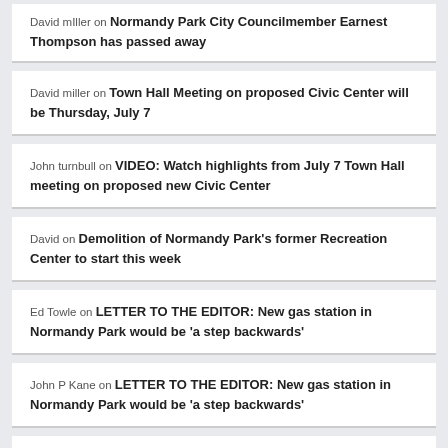David mIller on Normandy Park City Councilmember Earnest Thompson has passed away
David miller on Town Hall Meeting on proposed Civic Center will be Thursday, July 7
John turnbull on VIDEO: Watch highlights from July 7 Town Hall meeting on proposed new Civic Center
David on Demolition of Normandy Park's former Recreation Center to start this week
Ed Towle on LETTER TO THE EDITOR: New gas station in Normandy Park would be 'a step backwards'
John P Kane on LETTER TO THE EDITOR: New gas station in Normandy Park would be 'a step backwards'
John P Kane on Should Normandy Park have its own